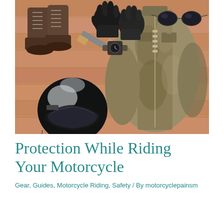[Figure (photo): Overhead flat-lay photo of motorcycle gear on a wooden floor: leather boots, black gloves, sunglasses, a knife/multi-tool, a watch/strap, a chrome/silver motorcycle helmet, and a worn distressed leather jacket with zipper.]
Protection While Riding Your Motorcycle
Gear, Guides, Motorcycle Riding, Safety / By motorcyclepainsm